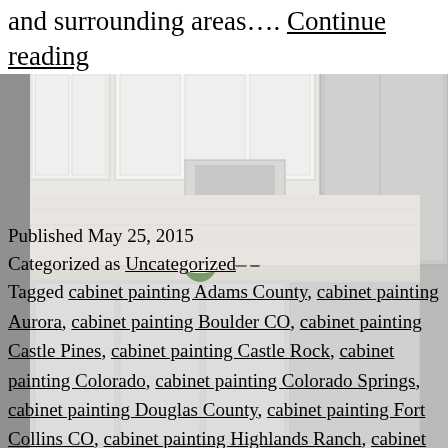and surrounding areas…. Continue reading
[Figure (photo): Kitchen interior with white cabinets, stainless steel appliances, and countertop with plant and bottles]
Published May 25, 2015
Categorized as Uncategorized
Tagged cabinet painting Adams County, cabinet painting Aurora, cabinet painting Boulder CO, cabinet painting Castle Pines, cabinet painting Castle Rock, cabinet painting Colorado, cabinet painting Colorado Springs, cabinet painting Douglas County, cabinet painting Fort Collins CO, cabinet painting Highlands Ranch, cabinet painting Highlands Ranch Co, cabinet painting Lakewood CO, cabinet painting Parker, cabinet painting Thornton Co, cabinet refinish in Castle Rock, cabinet refinishing Adams County, cabinet refinishing Aurora co., cabinet refinishing Boulder co., cabinet refinishing Castle Pines Colorado,